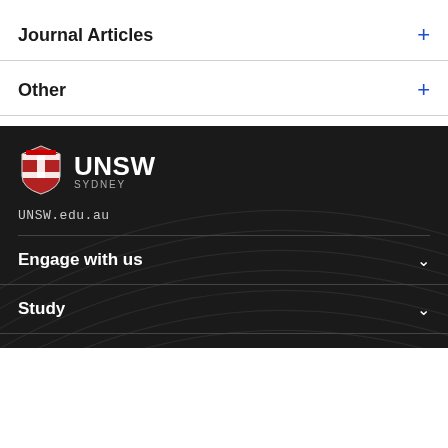Journal Articles
Other
[Figure (logo): UNSW Sydney logo with shield crest and text UNSW SYDNEY in white on dark background]
UNSW.edu.au
Engage with us
Study
News, Media & Events